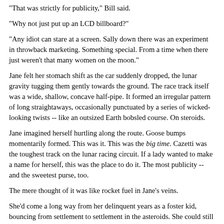"That was strictly for publicity," Bill said.
"Why not just put up an LCD billboard?"
"Any idiot can stare at a screen. Sally down there was an experiment in throwback marketing. Something special. From a time when there just weren't that many women on the moon."
Jane felt her stomach shift as the car suddenly dropped, the lunar gravity tugging them gently towards the ground. The race track itself was a wide, shallow, concave half-pipe. It formed an irregular pattern of long straightaways, occasionally punctuated by a series of wicked-looking twists -- like an outsized Earth bobsled course. On steroids.
Jane imagined herself hurtling along the route. Goose bumps momentarily formed. This was it. This was the big time. Cazetti was the toughest track on the lunar racing circuit. If a lady wanted to make a name for herself, this was the place to do it. The most publicity -- and the sweetest purse, too.
The mere thought of it was like rocket fuel in Jane's veins.
She'd come a long way from her delinquent years as a foster kid, bouncing from settlement to settlement in the asteroids. She could still hear her last foster mother screaming at her, as Jane's few